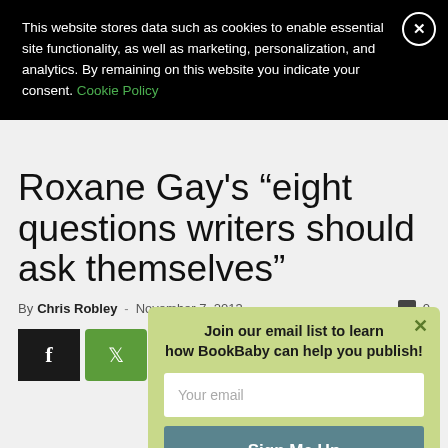This website stores data such as cookies to enable essential site functionality, as well as marketing, personalization, and analytics. By remaining on this website you indicate your consent. Cookie Policy
Roxane Gay's “eight questions writers should ask themselves”
By Chris Robley - November 7, 2013  0
[Figure (screenshot): Social share buttons: Facebook (black), Twitter, Pinterest, Email (green)]
Join our email list to learn how BookBaby can help you publish!
Your email
Sign Me Up